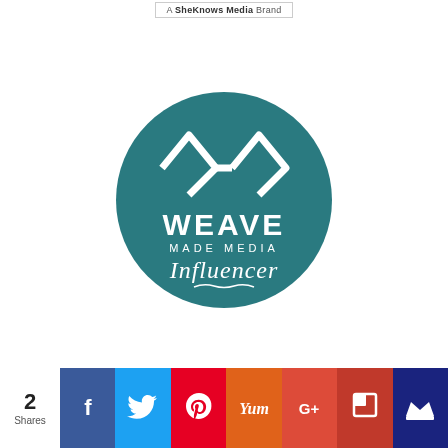A SheKnows Media Brand
[Figure (logo): Weave Made Media Influencer circular badge logo — teal circle with white crown/W icon, text WEAVE MADE MEDIA and script Influencer]
[Figure (other): Social share bar with 2 Shares count and buttons for Facebook, Twitter, Pinterest, Yummly, Google+, Flipboard, and crown icon]